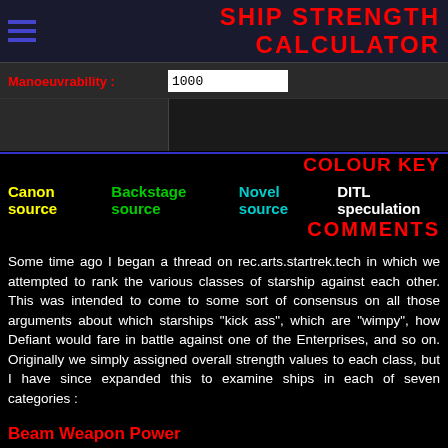SHIP STRENGTH CALCULATOR
Manoeuvrability : 1000
COLOUR KEY
Canon source  Backstage source  Novel source  DITL speculation
COMMENTS
Some time ago I began a thread on rec.arts.startrek.tech in which we attempted to rank the various classes of starship against each other. This was intended to come to some sort of consensus on all those arguments about which starships "kick ass", which are "wimpy", how Defiant would fare in battle against one of the Enterprises, and so on. Originally we simply assigned overall strength values to each class, but I have since expanded this to examine ships in each of seven categories :
Beam Weapon Power